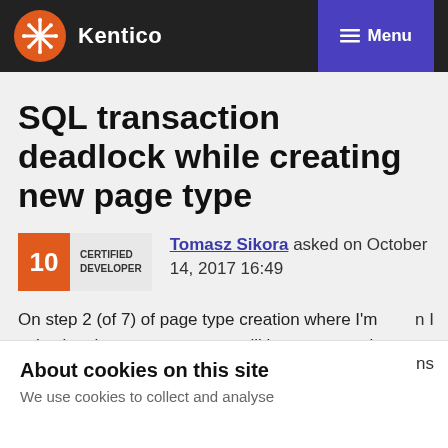Kentico  Menu
SQL transaction deadlock while creating new page type
Tomasz Sikora asked on October 14, 2017 16:49
On step 2 (of 7) of page type creation where I'm selecting that new page type will be content only page type, after I click next I'll have a message that error occurred. Checking
About cookies on this site
We use cookies to collect and analyse